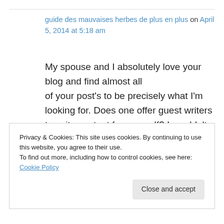guide des mauvaises herbes de plus en plus on April 5, 2014 at 5:18 am
My spouse and I absolutely love your blog and find almost all of your post's to be precisely what I'm looking for. Does one offer guest writers to write content for yourself? I wouldn't mind composing a post or elaborating on a few of the subjects
Privacy & Cookies: This site uses cookies. By continuing to use this website, you agree to their use.
To find out more, including how to control cookies, see here: Cookie Policy
Close and accept